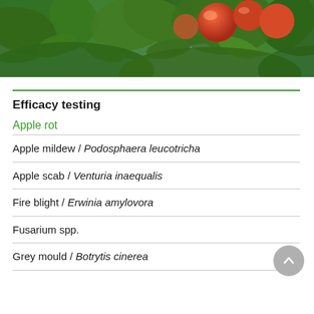[Figure (photo): Photograph of apples on a tree with green leaves against a blue sky background]
Efficacy testing
Apple rot
Apple mildew / Podosphaera leucotricha
Apple scab / Venturia inaequalis
Fire blight / Erwinia amylovora
Fusarium spp.
Grey mould / Botrytis cinerea